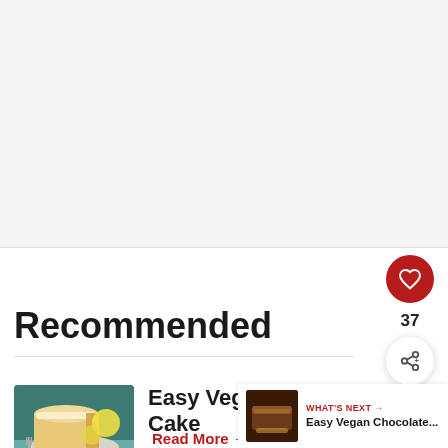[Figure (photo): Large blank/white image area at top of page (advertisement or image placeholder)]
Recommended
[Figure (photo): Photo of Easy Vegan Lemon Drizzle Cake - sliced lemon drizzle loaf cake on a plate with lemons in background]
Easy Vegan Lemon Drizzle Cake
Read More →
[Figure (photo): What's Next thumbnail - small photo of Easy Vegan Chocolate cake]
WHAT'S NEXT → Easy Vegan Chocolate...